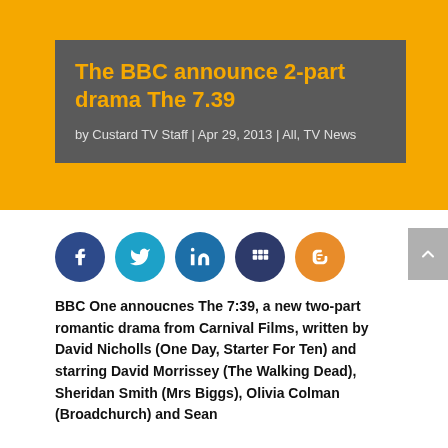The BBC announce 2-part drama The 7.39
by Custard TV Staff | Apr 29, 2013 | All, TV News
[Figure (other): Social sharing icons: Facebook, Twitter, LinkedIn, Myspace/Grid, Blogger; and a scroll-to-top button]
BBC One annoucnes The 7:39, a new two-part romantic drama from Carnival Films, written by David Nicholls (One Day, Starter For Ten) and starring David Morrissey (The Walking Dead), Sheridan Smith (Mrs Biggs), Olivia Colman (Broadchurch) and Sean